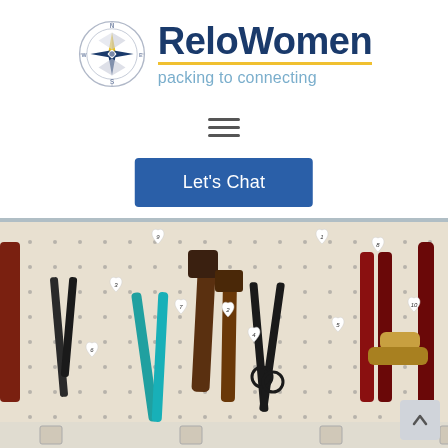[Figure (logo): ReloWomen logo with compass rose and text 'ReloWomen packing to connecting']
[Figure (other): Hamburger menu icon (three horizontal lines)]
[Figure (other): Blue 'Let's Chat' button]
[Figure (photo): Photo of a pegboard with various tools (pliers, hammers, scissors, wrenches) hung on it, each labeled with heart-shaped number tags numbered 1-10]